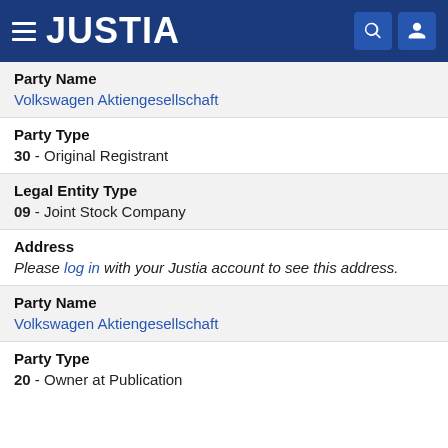JUSTIA
Party Name
Volkswagen Aktiengesellschaft
Party Type
30 - Original Registrant
Legal Entity Type
09 - Joint Stock Company
Address
Please log in with your Justia account to see this address.
Party Name
Volkswagen Aktiengesellschaft
Party Type
20 - Owner at Publication